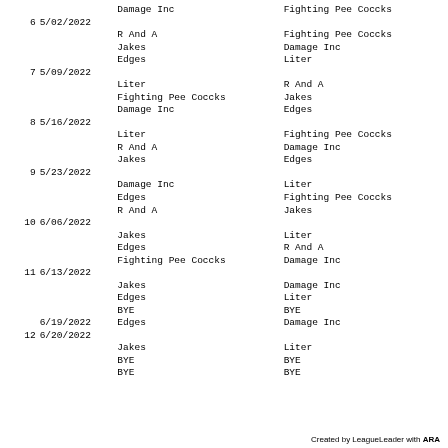| # | Date | Team 1 | Team 2 |
| --- | --- | --- | --- |
|  |  | Damage Inc | Fighting Pee Coccks |
| 6 | 5/02/2022 |  |  |
|  |  | R And A | Fighting Pee Coccks |
|  |  | Jakes | Damage Inc |
|  |  | Edges | Liter |
| 7 | 5/09/2022 |  |  |
|  |  | Liter | R And A |
|  |  | Fighting Pee Coccks | Jakes |
|  |  | Damage Inc | Edges |
| 8 | 5/16/2022 |  |  |
|  |  | Liter | Fighting Pee Coccks |
|  |  | R And A | Damage Inc |
|  |  | Jakes | Edges |
| 9 | 5/23/2022 |  |  |
|  |  | Damage Inc | Liter |
|  |  | Edges | Fighting Pee Coccks |
|  |  | R And A | Jakes |
| 10 | 6/06/2022 |  |  |
|  |  | Jakes | Liter |
|  |  | Edges | R And A |
|  |  | Fighting Pee Coccks | Damage Inc |
| 11 | 6/13/2022 |  |  |
|  |  | Jakes | Damage Inc |
|  |  | Edges | Liter |
|  |  | BYE | BYE |
|  | 6/19/2022 | Edges | Damage Inc |
| 12 | 6/20/2022 |  |  |
|  |  | Jakes | Liter |
|  |  | BYE | BYE |
|  |  | BYE | BYE |
Created by LeagueLeader with ARAS